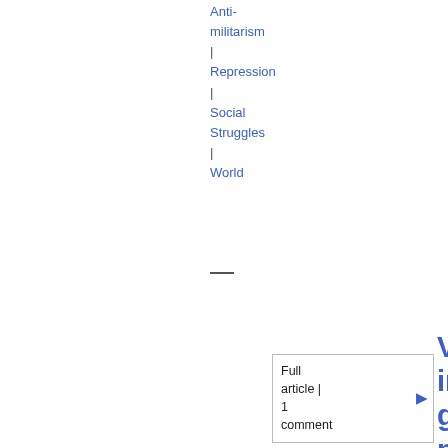Anti-militarism | Repression | Social Struggles | World
Full article | 1 comment
Venezuela offers inexpensive gasoline to USA's poor
31-08-2005 15:48
President Hugo Chavez said that he